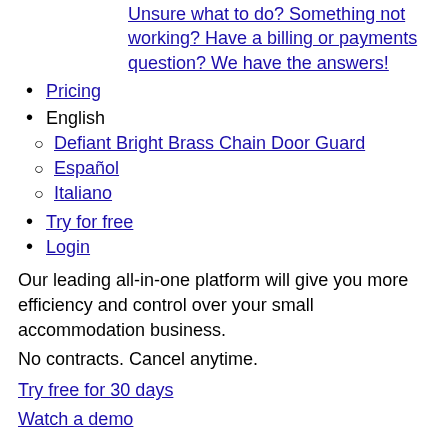Unsure what to do? Something not working? Have a billing or payments question? We have the answers!
Pricing
English
Defiant Bright Brass Chain Door Guard
Español
Italiano
Try for free
Login
Our leading all-in-one platform will give you more efficiency and control over your small accommodation business.
No contracts. Cancel anytime.
Try free for 30 days
Watch a demo
The world's most trusted small hotel management software
One platform. Many features.